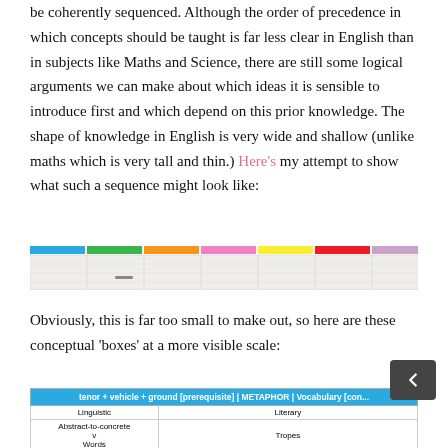be coherently sequenced. Although the order of precedence in which concepts should be taught is far less clear in English than in subjects like Maths and Science, there are still some logical arguments we can make about which ideas it is sensible to introduce first and which depend on this prior knowledge. The shape of knowledge in English is very wide and shallow (unlike maths which is very tall and thin.) Here's my attempt to show what such a sequence might look like:
[Figure (table-as-image): A wide, small-scale coloured table showing a conceptual sequence of English knowledge boxes with coloured column headers (blue, green, orange, pink, yellow, red) and faint text rows too small to read.]
Obviously, this is far too small to make out, so here are these conceptual 'boxes' at a more visible scale:
| tenor + vehicle + ground [prerequisite] | METAPHOR | Vocabulary [cont...] |
| --- |
| Linguistic | Literary |
| Abstract-to-concrete
v
Words | Tropes |
|  | Metonymy | Metaphor | Symbolism |
|  |  |  | Allegory | Motif | Irony |